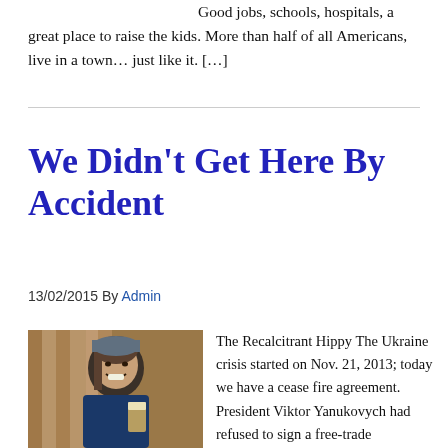Good jobs, schools, hospitals, a great place to raise the kids. More than half of all Americans, live in a town… just like it. […]
We Didn't Get Here By Accident
13/02/2015 By Admin
[Figure (photo): Photo of a smiling man with long hair wearing a blue shirt, holding a beer glass, in a wooden interior setting]
The Recalcitrant Hippy The Ukraine crisis started on Nov. 21, 2013; today we have a cease fire agreement. President Viktor Yanukovych had refused to sign a free-trade agreement with the